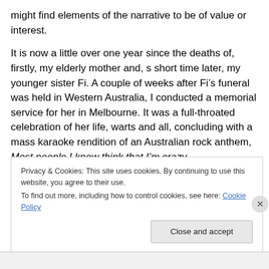might find elements of the narrative to be of value or interest.
It is now a little over one year since the deaths of, firstly, my elderly mother and, s short time later, my younger sister Fi. A couple of weeks after Fi’s funeral was held in Western Australia, I conducted a memorial service for her in Melbourne. It was a full-throated celebration of her life, warts and all, concluding with a mass karaoke rendition of an Australian rock anthem, Most people I know think that I’m crazy.
Privacy & Cookies: This site uses cookies. By continuing to use this website, you agree to their use.
To find out more, including how to control cookies, see here: Cookie Policy
Close and accept